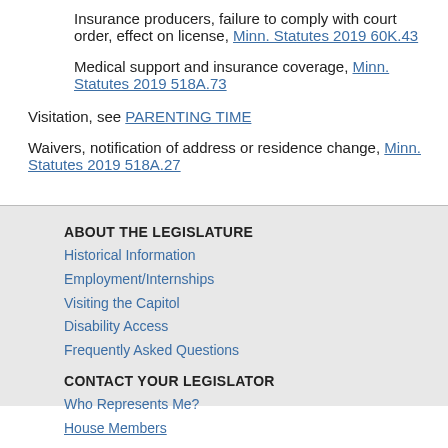Insurance producers, failure to comply with court order, effect on license, Minn. Statutes 2019 60K.43
Medical support and insurance coverage, Minn. Statutes 2019 518A.73
Visitation, see PARENTING TIME
Waivers, notification of address or residence change, Minn. Statutes 2019 518A.27
ABOUT THE LEGISLATURE
Historical Information
Employment/Internships
Visiting the Capitol
Disability Access
Frequently Asked Questions
CONTACT YOUR LEGISLATOR
Who Represents Me?
House Members